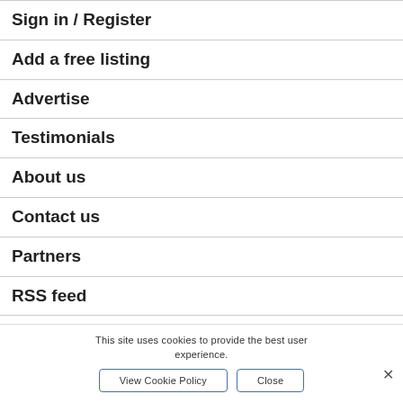Sign in / Register
Add a free listing
Advertise
Testimonials
About us
Contact us
Partners
RSS feed
This site uses cookies to provide the best user experience.
View Cookie Policy
Close